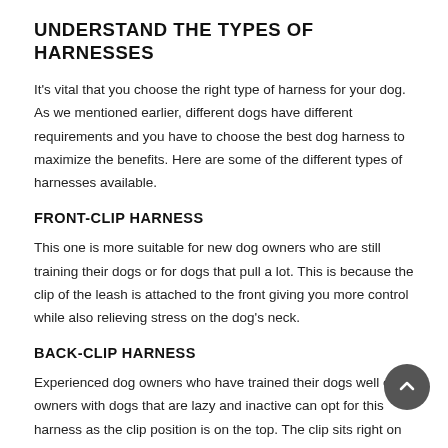UNDERSTAND THE TYPES OF HARNESSES
It's vital that you choose the right type of harness for your dog. As we mentioned earlier, different dogs have different requirements and you have to choose the best dog harness to maximize the benefits. Here are some of the different types of harnesses available.
FRONT-CLIP HARNESS
This one is more suitable for new dog owners who are still training their dogs or for dogs that pull a lot. This is because the clip of the leash is attached to the front giving you more control while also relieving stress on the dog's neck.
BACK-CLIP HARNESS
Experienced dog owners who have trained their dogs well or owners with dogs that are lazy and inactive can opt for this harness as the clip position is on the top. The clip sits right on the dog's neck in this which is suitable for those that don't pull as